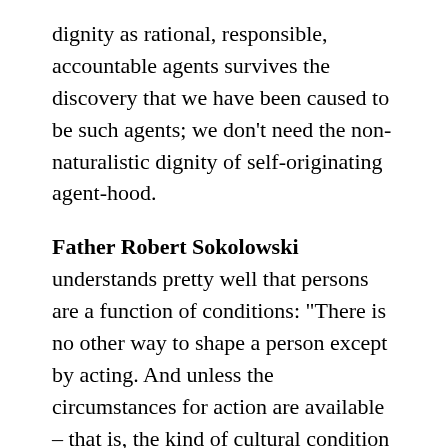dignity as rational, responsible, accountable agents survives the discovery that we have been caused to be such agents; we don't need the non-naturalistic dignity of self-originating agent-hood.
Father Robert Sokolowski understands pretty well that persons are a function of conditions: "There is no other way to shape a person except by acting. And unless the circumstances for action are available – that is, the kind of cultural condition in which actions become possible and praised, evaluated properly –